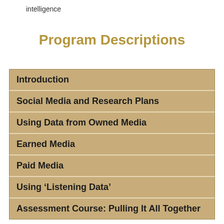intelligence
Program Descriptions
Introduction
Social Media and Research Plans
Using Data from Owned Media
Earned Media
Paid Media
Using ‘Listening Data’
Assessment Course: Pulling It All Together